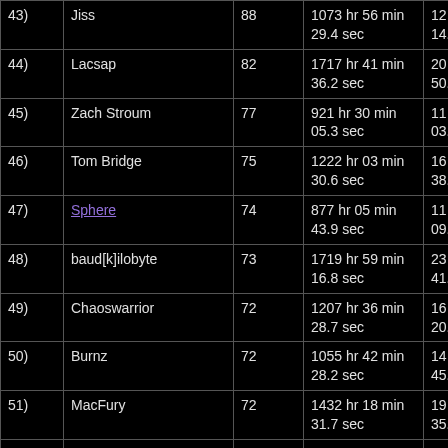| Rank | Name | Score | Total Time | Avg Time |
| --- | --- | --- | --- | --- |
| 43) | Jiss | 88 | 1073 hr 56 min 29.4 sec | 12 hr 12 min 14.0 sec |
| 44) | Lacsap | 82 | 1717 hr 41 min 36.2 sec | 20 hr 56 min 50.9 sec |
| 45) | Zach Stroum | 77 | 921 hr 30 min 05.3 sec | 11 hr 58 min 03.2 sec |
| 46) | Tom Bridge | 75 | 1222 hr 03 min 30.6 sec | 16 hr 17 min 38.8 sec |
| 47) | Sphere | 74 | 877 hr 05 min 43.9 sec | 11 hr 51 min 09.5 sec |
| 48) | baud[k]ilobyte | 73 | 1719 hr 59 min 16.8 sec | 23 hr 33 min 41.3 sec |
| 49) | Chaoswarrior | 72 | 1207 hr 36 min 28.7 sec | 16 hr 46 min 20.4 sec |
| 50) | Burnz | 72 | 1055 hr 42 min 28.2 sec | 14 hr 39 min 45.4 sec |
| 51) | MacFury | 72 | 1432 hr 18 min 31.7 sec | 19 hr 53 min 35.4 sec |
| 52) | Cord | 67 | 1289 hr 25 min 21.9 sec | 19 hr 14 min 42.4 sec |
| 53) | Lithion | 66 | 2022 hr 58 min 23.8 sec | 30 hr 39 min 04.0 sec |